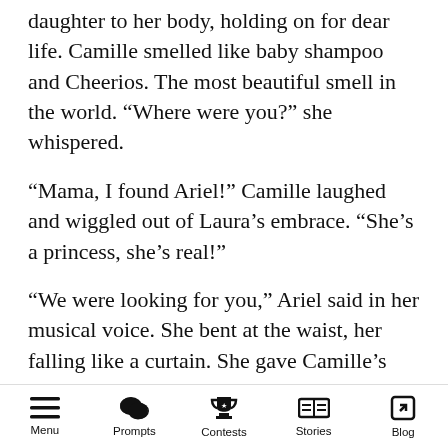daughter to her body, holding on for dear life. Camille smelled like baby shampoo and Cheerios. The most beautiful smell in the world. “Where were you?” she whispered.
“Mama, I found Ariel!” Camille laughed and wiggled out of Laura’s embrace. “She’s a princess, she’s real!”
“We were looking for you,” Ariel said in her musical voice. She bent at the waist, her falling like a curtain. She gave Camille’s hand a little squeeze and looked her right in the eyes. “Sometimes little fishes swim into the big sea.”
Camille nodded solemnly.
Menu  Prompts  Contests  Stories  Blog